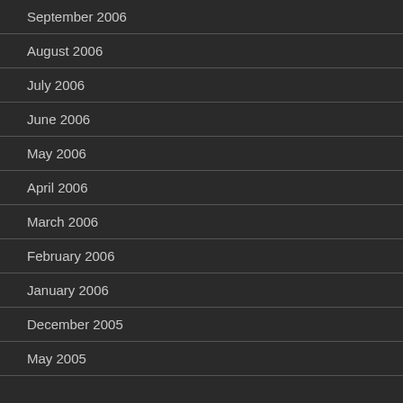September 2006
August 2006
July 2006
June 2006
May 2006
April 2006
March 2006
February 2006
January 2006
December 2005
May 2005